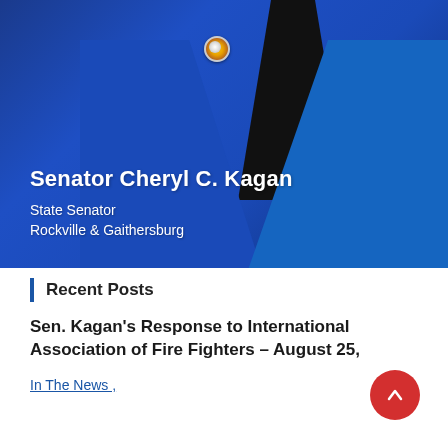[Figure (photo): Photo of Senator Cheryl C. Kagan wearing a bright blue jacket with a decorative pin button, with a black collar visible. Overlaid text identifies her as State Senator for Rockville & Gaithersburg.]
Senator Cheryl C. Kagan
State Senator
Rockville & Gaithersburg
Recent Posts
Sen. Kagan's Response to International Association of Fire Fighters – August 25,
In The News ,